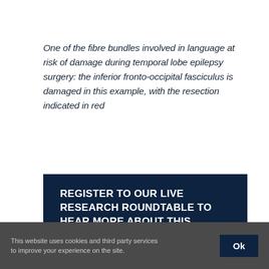One of the fibre bundles involved in language at risk of damage during temporal lobe epilepsy surgery: the inferior fronto-occipital fasciculus is damaged in this example, with the resection indicated in red
REGISTER TO OUR LIVE RESEARCH ROUNDTABLE TO HEAR MORE ABOUT THIS PROJECT
You can read more about Dr Sjoerd Vos and
This website uses cookies and third party services to improve your experience on the site.